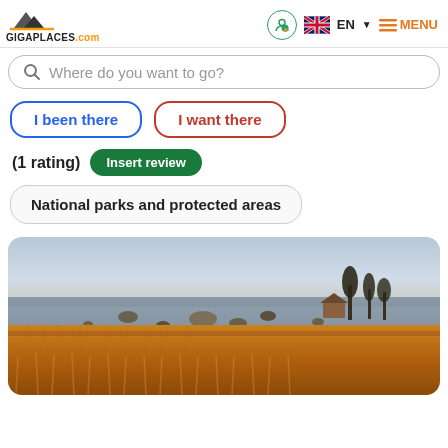GIGAPLACES.COM | EN | MENU
Where do you want to go?
I been there
I want there
(1 rating) Insert review
National parks and protected areas
[Figure (photo): Coastal landscape with golden dry grass reeds in foreground, rocky shoreline with boulders, a small structure and bare trees in the background, under a pale grey sky.]